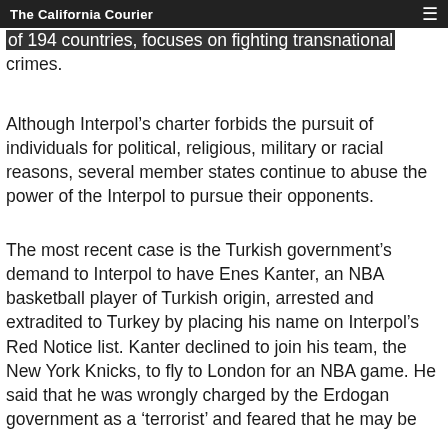The California Courier
of 194 countries, focuses on fighting transnational crimes.
Although Interpol's charter forbids the pursuit of individuals for political, religious, military or racial reasons, several member states continue to abuse the power of the Interpol to pursue their opponents.
The most recent case is the Turkish government's demand to Interpol to have Enes Kanter, an NBA basketball player of Turkish origin, arrested and extradited to Turkey by placing his name on Interpol's Red Notice list. Kanter declined to join his team, the New York Knicks, to fly to London for an NBA game. He said that he was wrongly charged by the Erdogan government as a 'terrorist' and feared that he may be